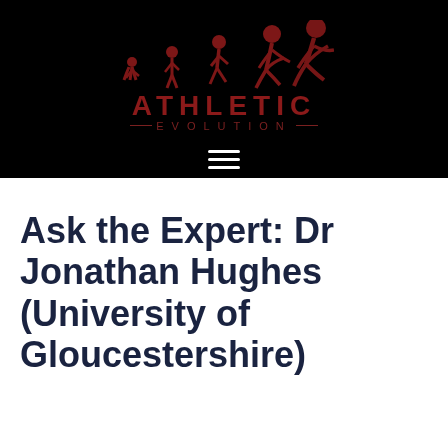[Figure (logo): Athletic Evolution logo with silhouettes of human evolution into a runner, red/dark red color scheme on black background, with bold text 'ATHLETIC' and '—EVOLUTION—' below]
Ask the Expert: Dr Jonathan Hughes (University of Gloucestershire)